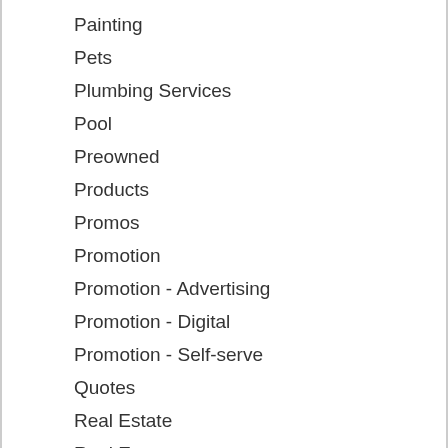Painting
Pets
Plumbing Services
Pool
Preowned
Products
Promos
Promotion
Promotion - Advertising
Promotion - Digital
Promotion - Self-serve
Quotes
Real Estate
Real Estate
Realtors